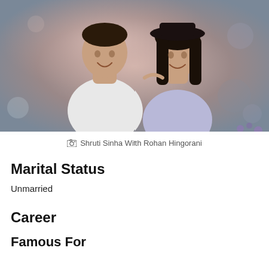[Figure (photo): A young couple smiling and looking at each other. The man is wearing a white patterned t-shirt and the woman is wearing a lavender off-shoulder top and a black hat. Warm bokeh background.]
📷 Shruti Sinha With Rohan Hingorani
Marital Status
Unmarried
Career
Famous For